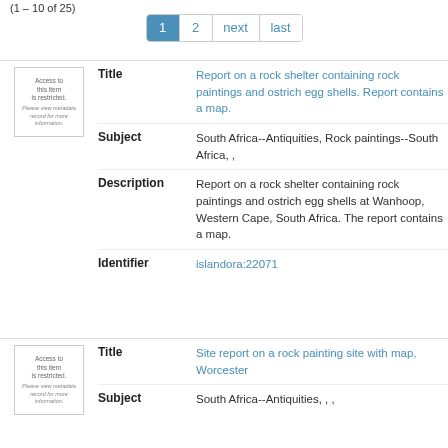(1 - 10 of 25)
1  2  next  last
| Image | Field | Value |
| --- | --- | --- |
| Access to this item is restricted. Please view metadata record for more information. | Title | Report on a rock shelter containing rock paintings and ostrich egg shells. Report contains a map. |
|  | Subject | South Africa--Antiquities, Rock paintings--South Africa, , |
|  | Description | Report on a rock shelter containing rock paintings and ostrich egg shells at Wanhoop, Western Cape, South Africa. The report contains a map. |
|  | Identifier | islandora:22071 |
| Image | Field | Value |
| --- | --- | --- |
| Access to this item is restricted. Please view metadata record for more information. | Title | Site report on a rock painting site with map, Worcester |
|  | Subject | South Africa--Antiquities, , , |